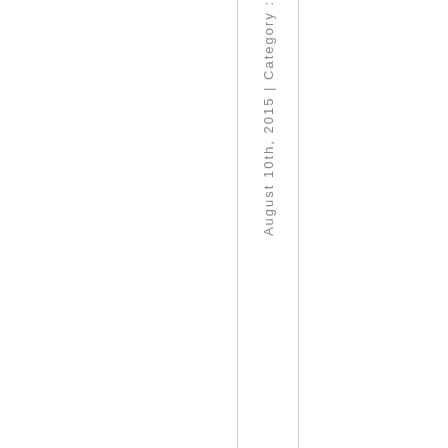August 10th, 2015 | Category :